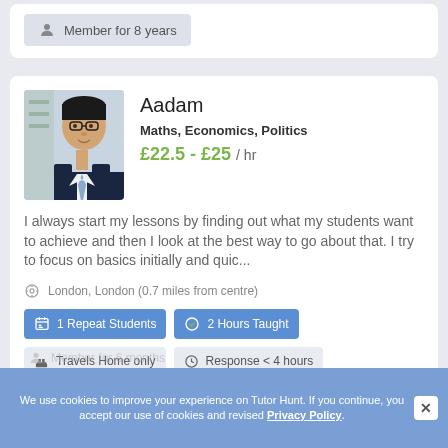Member for 8 years
Aadam
Maths, Economics, Politics
£22.5 - £25 / hr
I always start my lessons by finding out what my students want to achieve and then I look at the best way to go about that. I try to focus on basics initially and quic...
London, London (0.7 miles from centre)
1 Repeat Students
2 Hours Taught
Travels Home only
Response < 4 hours
We use cookies to improve your experience on Tutor Hunt. If you continue, you accept our use of cookies and revised Privacy Policy.